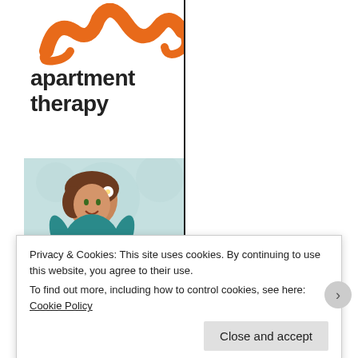[Figure (logo): Apartment Therapy logo with orange squiggly icon and bold text 'apartment therapy']
[Figure (illustration): Tip Junkie logo with cartoon woman in teal dress and cursive 'TipJunkie' text on light blue floral background]
[Figure (illustration): Floral decorative banner with roses and green leaves on cream background]
Privacy & Cookies: This site uses cookies. By continuing to use this website, you agree to their use.
To find out more, including how to control cookies, see here: Cookie Policy
Close and accept